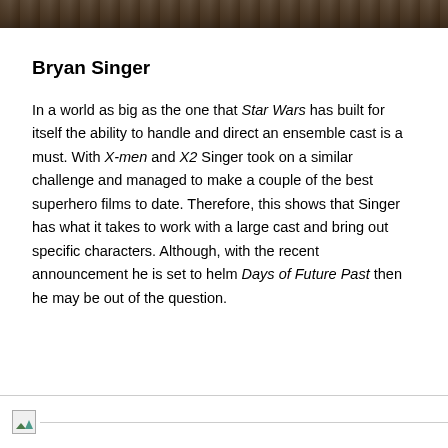[Figure (photo): Partial photo strip at the top of the page, showing a dark image of a person]
Bryan Singer
In a world as big as the one that Star Wars has built for itself the ability to handle and direct an ensemble cast is a must. With X-men and X2 Singer took on a similar challenge and managed to make a couple of the best superhero films to date. Therefore, this shows that Singer has what it takes to work with a large cast and bring out specific characters. Although, with the recent announcement he is set to helm Days of Future Past then he may be out of the question.
[Figure (photo): Broken/unloaded image placeholder at the bottom of the page]